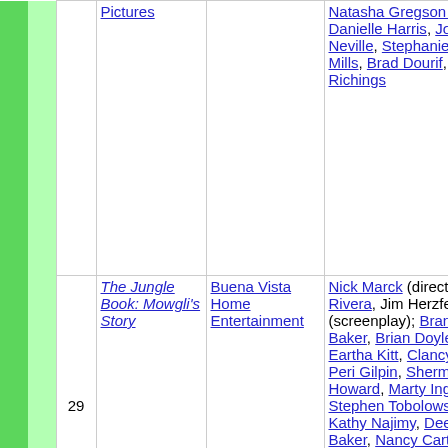|  |  | # | Title | Distributor | Cast/Crew | Genre |
| --- | --- | --- | --- | --- | --- | --- |
|  |  |  |  |  | Natasha Gregson Wagner, Danielle Harris, John Neville, Stephanie Anne Mills, Brad Dourif, Julian Richings |  |
|  |  | 29 | The Jungle Book: Mowgli's Story | Buena Vista Home Entertainment | Nick Marck (director); José Rivera, Jim Herzfeld (screenplay); Brandon Baker, Brian Doyle-Murray, Eartha Kitt, Clancy Brown, Peri Gilpin, Sherman Howard, Marty Ingels, Stephen Tobolowsky, Kathy Najimy, Dee Bradley Baker, Nancy Cartwright, Ashley Peldon, Wallace Shawn, Richard Kind, Catherine Lloyd Burns, Ken Hudson Campbell, Scott... | Adventure Family |